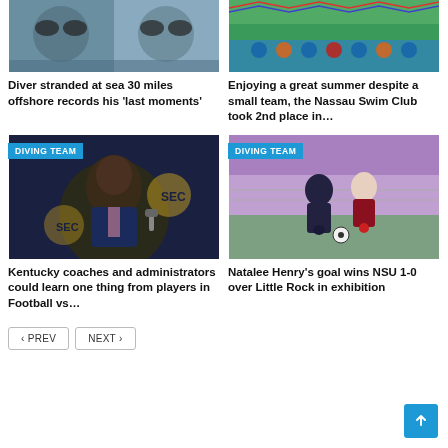[Figure (photo): Two divers with goggles at sea]
[Figure (photo): Group of swimmers at a pool with colorful decorations]
Diver stranded at sea 30 miles offshore records his 'last moments'
Enjoying a great summer despite a small team, the Nassau Swim Club took 2nd place in…
[Figure (photo): Man in suit at SEC press conference with DIVING TEAM badge]
[Figure (photo): Two female soccer players competing for ball with DIVING TEAM badge]
Kentucky coaches and administrators could learn one thing from players in Football vs…
Natalee Henry's goal wins NSU 1-0 over Little Rock in exhibition